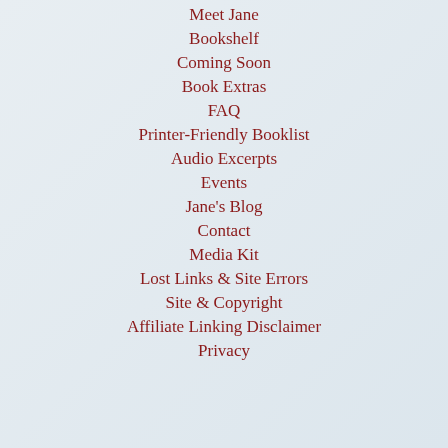Meet Jane
Bookshelf
Coming Soon
Book Extras
FAQ
Printer-Friendly Booklist
Audio Excerpts
Events
Jane's Blog
Contact
Media Kit
Lost Links & Site Errors
Site & Copyright
Affiliate Linking Disclaimer
Privacy